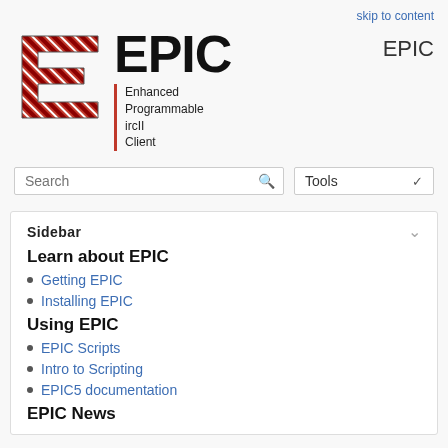skip to content
[Figure (logo): EPIC logo: stylized letter E made of red and black diagonal stripes, with large bold text EPIC and subtitle Enhanced Programmable ircII Client]
EPIC
Search
Tools
Sidebar
Learn about EPIC
Getting EPIC
Installing EPIC
Using EPIC
EPIC Scripts
Intro to Scripting
EPIC5 documentation
EPIC News